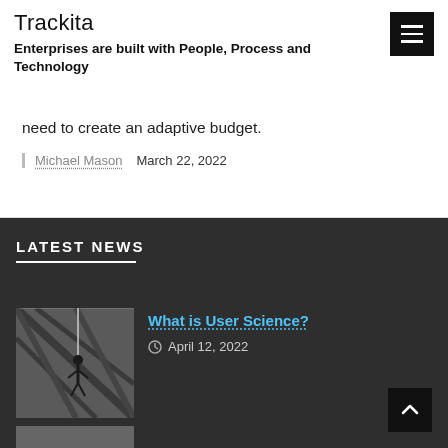Trackita
Enterprises are built with People, Process and Technology
need to create an adaptive budget.
Michael Mason   March 22, 2022
LATEST NEWS
[Figure (photo): Black and white photo of a person climbing a building or structure]
What is User Science?
April 12, 2022